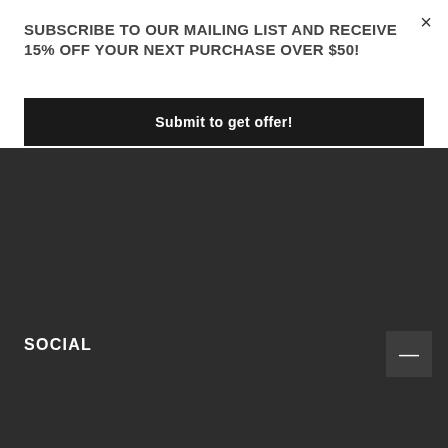×
SUBSCRIBE TO OUR MAILING LIST AND RECEIVE 15% OFF YOUR NEXT PURCHASE OVER $50!
Submit to get offer!
SOCIAL
[Figure (illustration): Facebook and Instagram social media icons as outlined circles with f and camera symbols]
RETAILERS